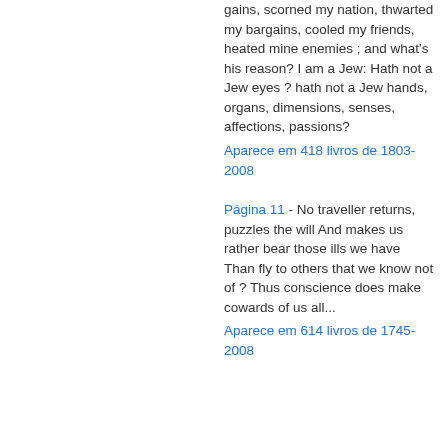gains, scorned my nation, thwarted my bargains, cooled my friends, heated mine enemies ; and what's his reason? I am a Jew: Hath not a Jew eyes ? hath not a Jew hands, organs, dimensions, senses, affections, passions?
Aparece em 418 livros de 1803-2008
Página 11 - No traveller returns, puzzles the will And makes us rather bear those ills we have Than fly to others that we know not of ? Thus conscience does make cowards of us all...
Aparece em 614 livros de 1745-2008